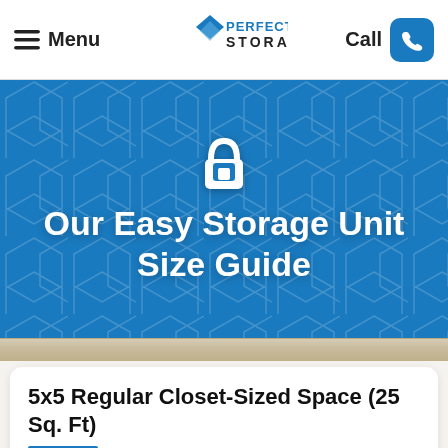≡ Menu | A Perfect Storage | Call
[Figure (infographic): Blue hero banner with hexagonal tile background pattern, white padlock icon, and large white bold text reading 'Our Easy Storage Unit Size Guide']
Our Easy Storage Unit Size Guide
5x5 Regular Closet-Sized Space (25 Sq. Ft)